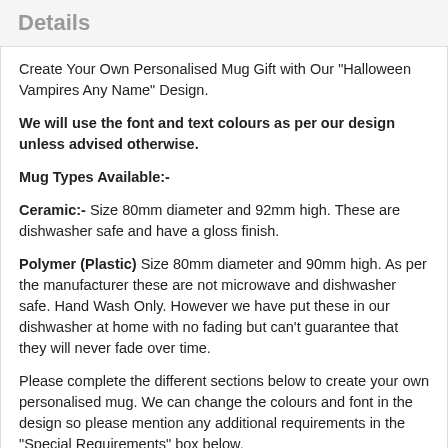Details
Create Your Own Personalised Mug Gift with Our "Halloween Vampires Any Name" Design.
We will use the font and text colours as per our design unless advised otherwise.
Mug Types Available:-
Ceramic:- Size 80mm diameter and 92mm high. These are dishwasher safe and have a gloss finish.
Polymer (Plastic) Size 80mm diameter and 90mm high. As per the manufacturer these are not microwave and dishwasher safe. Hand Wash Only. However we have put these in our dishwasher at home with no fading but can't guarantee that they will never fade over time.
Please complete the different sections below to create your own personalised mug. We can change the colours and font in the design so please mention any additional requirements in the "Special Requirements" box below.
All personalisation is included and your mug will come in a